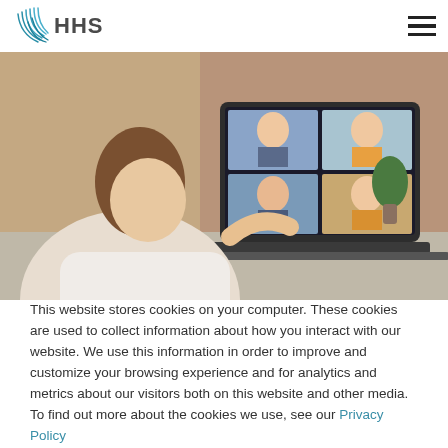HHS
[Figure (photo): Woman viewed from behind sitting at a desk using a laptop showing a video conference with four participants on screen, in a room with brick wall background and green plant.]
This website stores cookies on your computer. These cookies are used to collect information about how you interact with our website. We use this information in order to improve and customize your browsing experience and for analytics and metrics about our visitors both on this website and other media. To find out more about the cookies we use, see our Privacy Policy
Dismiss